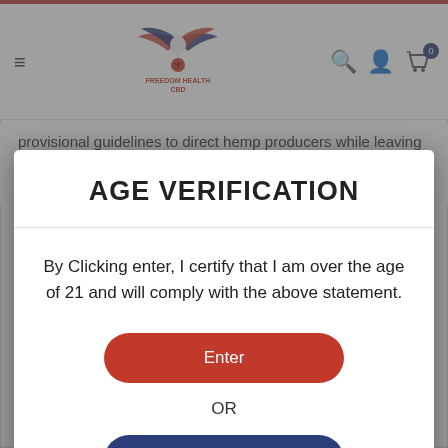[Figure (logo): Freedom Health CBD logo with eagle wings and red cannabis leaf]
provisional guidelines to direct hemp producers while leaving regulators to examine the issue to draft permanent rules for the
AGE VERIFICATION
By Clicking enter, I certify that I am over the age of 21 and will comply with the above statement.
Enter
OR
Exit
Always Enjoy Responsibily